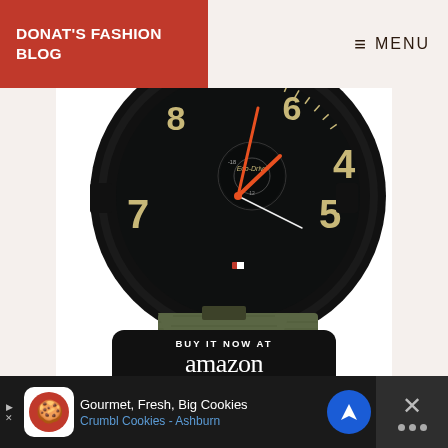DONAT'S FASHION BLOG | ≡ MENU
[Figure (photo): Close-up photo of a Citizen Eco-Drive military-style watch with black case, tan/khaki numerals and markers on a dark dial, orange hands, and a green/olive NATO-style canvas strap. Shows numbers 4, 5, 6, 7, 8 and sub-dial with Eco-Drive branding.]
[Figure (other): Black rounded rectangle button with white text reading 'BUY IT NOW AT amazon' with an Amazon arrow logo underneath, advertising a product purchase link.]
Gourmet, Fresh, Big Cookies Crumbl Cookies - Ashburn